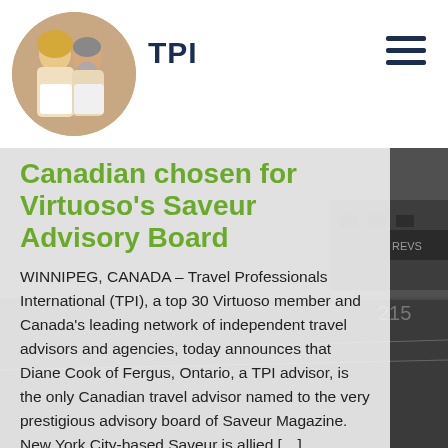TPI
Canadian chosen for Virtuoso's Saveur Advisory Board
WINNIPEG, CANADA – Travel Professionals International (TPI), a top 30 Virtuoso member and Canada's leading network of independent travel advisors and agencies, today announces that Diane Cook of Fergus, Ontario, a TPI advisor, is the only Canadian travel advisor named to the very prestigious advisory board of Saveur Magazine. New York City-based Saveur is allied […]
Read more